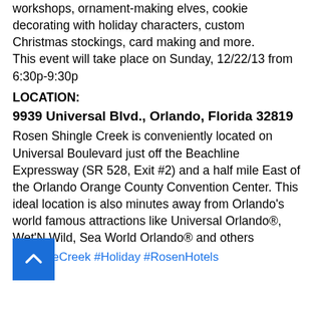workshops, ornament-making elves, cookie decorating with holiday characters, custom Christmas stockings, card making and more.
This event will take place on Sunday, 12/22/13 from 6:30p-9:30p
LOCATION:
9939 Universal Blvd., Orlando, Florida 32819
Rosen Shingle Creek is conveniently located on Universal Boulevard just off the Beachline Expressway (SR 528, Exit #2) and a half mile East of the Orlando Orange County Convention Center. This ideal location is also minutes away from Orlando's world famous attractions like Universal Orlando®, Wet'N Wild, Sea World Orlando® and others
#ShingleCreek #Holiday #RosenHotels